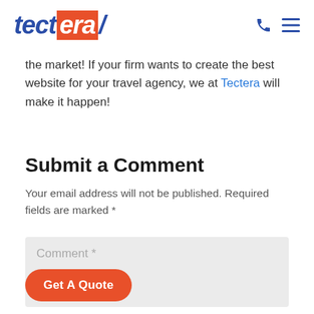[Figure (logo): Tectera logo with 'tect' in dark blue italic and 'era' in white on orange background, followed by a dark blue tick mark]
[Figure (other): Phone icon and hamburger menu icon in dark blue on the right side of header]
the market! If your firm wants to create the best website for your travel agency, we at Tectera will make it happen!
Submit a Comment
Your email address will not be published. Required fields are marked *
Comment *
Get A Quote